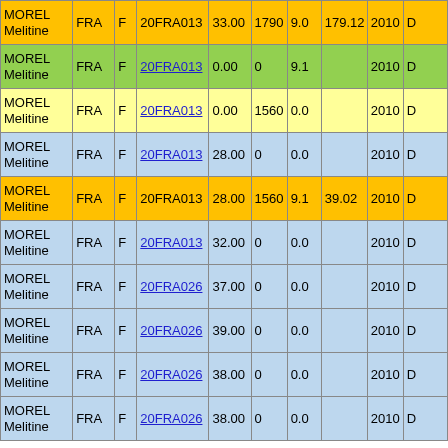| MOREL Melitine | FRA | F | 20FRA013 | 33.00 | 1790 | 9.0 | 179.12 | 2010 | D |
| MOREL Melitine | FRA | F | 20FRA013 | 0.00 | 0 | 9.1 |  | 2010 | D |
| MOREL Melitine | FRA | F | 20FRA013 | 0.00 | 1560 | 0.0 |  | 2010 | D |
| MOREL Melitine | FRA | F | 20FRA013 | 28.00 | 0 | 0.0 |  | 2010 | D |
| MOREL Melitine | FRA | F | 20FRA013 | 28.00 | 1560 | 9.1 | 39.02 | 2010 | D |
| MOREL Melitine | FRA | F | 20FRA013 | 32.00 | 0 | 0.0 |  | 2010 | D |
| MOREL Melitine | FRA | F | 20FRA026 | 37.00 | 0 | 0.0 |  | 2010 | D |
| MOREL Melitine | FRA | F | 20FRA026 | 39.00 | 0 | 0.0 |  | 2010 | D |
| MOREL Melitine | FRA | F | 20FRA026 | 38.00 | 0 | 0.0 |  | 2010 | D |
| MOREL Melitine | FRA | F | 20FRA026 | 38.00 | 0 | 0.0 |  | 2010 | D |